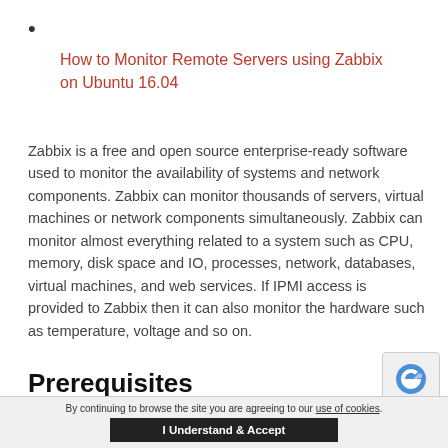•
How to Monitor Remote Servers using Zabbix on Ubuntu 16.04
Zabbix is a free and open source enterprise-ready software used to monitor the availability of systems and network components. Zabbix can monitor thousands of servers, virtual machines or network components simultaneously. Zabbix can monitor almost everything related to a system such as CPU, memory, disk space and IO, processes, network, databases, virtual machines, and web services. If IPMI access is provided to Zabbix then it can also monitor the hardware such as temperature, voltage and so on.
Prerequisites
By continuing to browse the site you are agreeing to our use of cookies.
I Understand & Accept